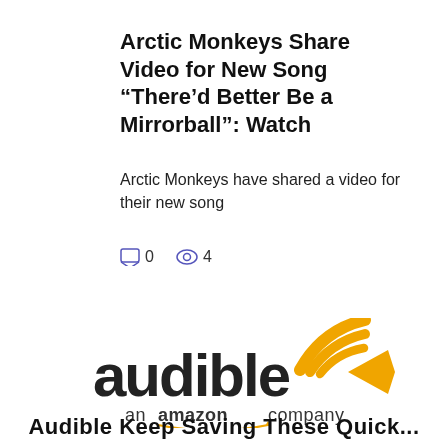Arctic Monkeys Share Video for New Song “There’d Better Be a Mirrorball”: Watch
Arctic Monkeys have shared a video for their new song
0  4
[Figure (logo): Audible an amazon company logo]
Audible Keep Saving These Quick...